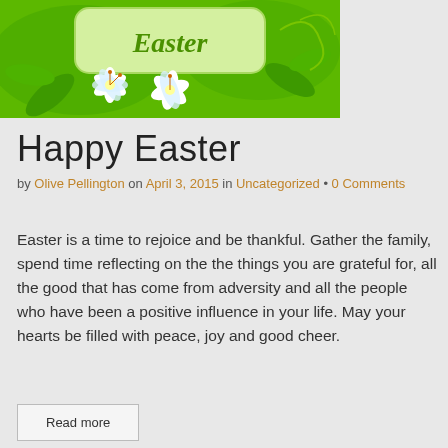[Figure (illustration): Easter-themed illustration with white lilies, green leaves, and a light green rounded rectangle banner with 'Easter' written in cursive script at the top of the page.]
Happy Easter
by Olive Pellington on April 3, 2015 in Uncategorized • 0 Comments
Easter is a time to rejoice and be thankful. Gather the family, spend time reflecting on the the things you are grateful for, all the good that has come from adversity and all the people who have been a positive influence in your life. May your hearts be filled with peace, joy and good cheer.
Read more